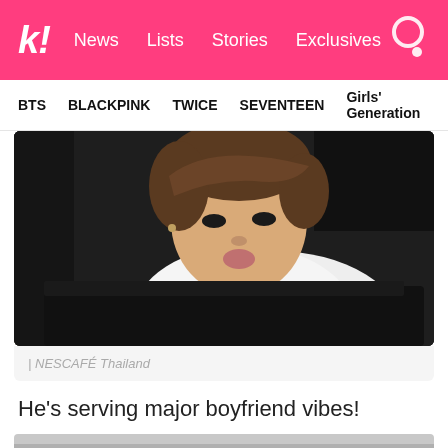k! News  Lists  Stories  Exclusives
BTS  BLACKPINK  TWICE  SEVENTEEN  Girls' Generation
[Figure (photo): A young Asian man leaning forward toward a laptop screen, wearing a white t-shirt, with brown hair, looking into the camera with lips slightly puckered, in a dark room setting. NESCAFÉ Thailand promotional image.]
| NESCAFÉ Thailand
He's serving major boyfriend vibes!
[Figure (photo): Partial bottom image, cut off at page edge]